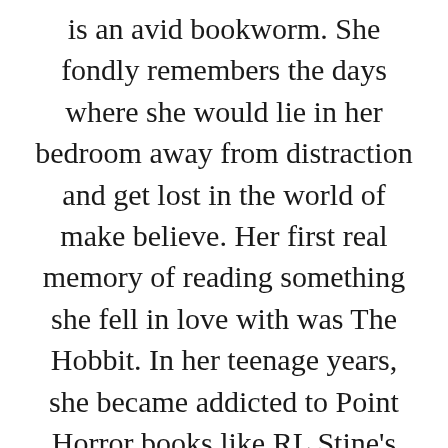is an avid bookworm. She fondly remembers the days where she would lie in her bedroom away from distraction and get lost in the world of make believe. Her first real memory of reading something she fell in love with was The Hobbit. In her teenage years, she became addicted to Point Horror books like RL Stine's The Boyfriend, but she also